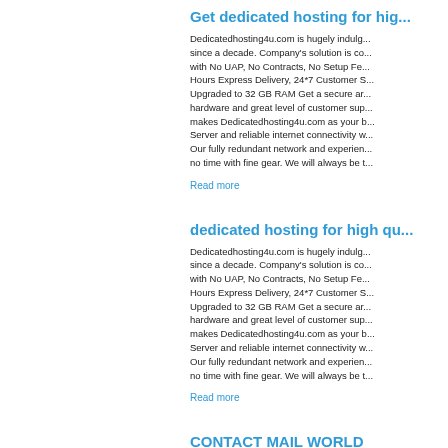Get dedicated hosting for hig...
Dedicatedhosting4u.com is hugely indulg... since a decade. Company's solution is co... with No UAP, No Contracts, No Setup Fe... Hours Express Delivery, 24*7 Customer S... Upgraded to 32 GB RAM Get a secure ar... hardware and great level of customer sup... makes Dedicatedhosting4u.com as your b... Server and reliable internet connectivity w... Our fully redundant network and experien... no time with fine gear. We will always be t...
Read more
dedicated hosting for high qu...
Dedicatedhosting4u.com is hugely indulg... since a decade. Company's solution is co... with No UAP, No Contracts, No Setup Fe... Hours Express Delivery, 24*7 Customer S... Upgraded to 32 GB RAM Get a secure ar... hardware and great level of customer sup... makes Dedicatedhosting4u.com as your b... Server and reliable internet connectivity w... Our fully redundant network and experien... no time with fine gear. We will always be t...
Read more
CONTACT MAIL WORLD